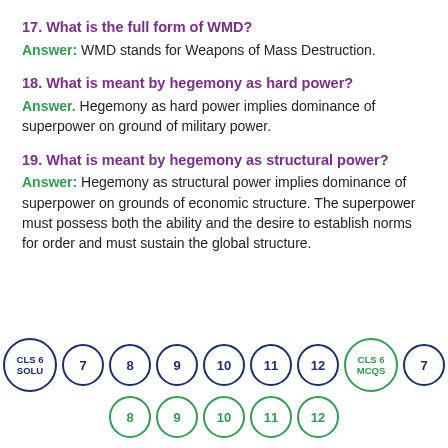17. What is the full form of WMD?
Answer: WMD stands for Weapons of Mass Destruction.
18. What is meant by hegemony as hard power?
Answer: Hegemony as hard power implies dominance of superpower on ground of military power.
19. What is meant by hegemony as structural power?
Answer: Hegemony as structural power implies dominance of superpower on grounds of economic structure. The superpower must possess both the ability and the desire to establish norms for order and must sustain the global structure.
[Figure (other): Navigation buttons: CLS 6 SOLU, 7, 8, 9, 10, 11, 12, CLS 6 MCQS, 7 in top row; 8, 9, 10, 11, 12 in bottom row (green text, circled numbers)]